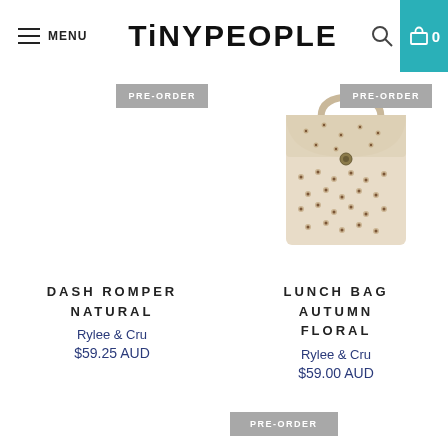MENU | TINYPEOPLE | search | cart 0
[Figure (photo): PRE-ORDER badge placeholder for Dash Romper Natural product image]
[Figure (photo): Floral lunch bag with handle, autumn floral pattern, with PRE-ORDER badge. Beige/brown floral fabric satchel-style bag.]
DASH ROMPER NATURAL
Rylee & Cru
$59.25 AUD
LUNCH BAG AUTUMN FLORAL
Rylee & Cru
$59.00 AUD
[Figure (photo): PRE-ORDER badge at bottom of page for third product]